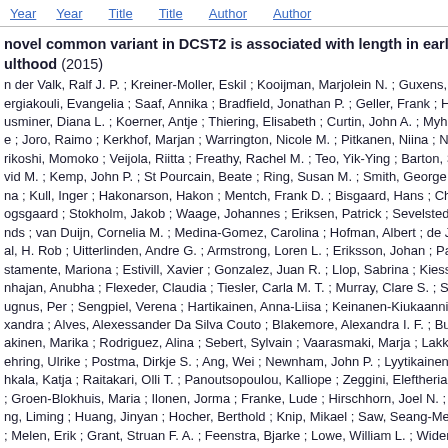Year  Year  Title  Title  Author  Author
novel common variant in DCST2 is associated with length in early life and ulthood (2015)
n der Valk, Ralf J. P. ; Kreiner-Moller, Eskil ; Kooijman, Marjolein N. ; Guxens, M ; ergiakouli, Evangelia ; Saaf, Annika ; Bradfield, Jonathan P. ; Geller, Frank ; Hay ; usminer, Diana L. ; Koerner, Antje ; Thiering, Elisabeth ; Curtin, John A. ; Myhre ; Joro, Raimo ; Kerkhof, Marjan ; Warrington, Nicole M. ; Pitkanen, Niina ; Nta ; rikoshi, Momoko ; Veijola, Riitta ; Freathy, Rachel M. ; Teo, Yik-Ying ; Barton, Sh ; vid M. ; Kemp, John P. ; St Pourcain, Beate ; Ring, Susan M. ; Smith, George D ; na ; Kull, Inger ; Hakonarson, Hakon ; Mentch, Frank D. ; Bisgaard, Hans ; Cha ; ogsgaard ; Stokholm, Jakob ; Waage, Johannes ; Eriksen, Patrick ; Sevelsted, A ; nds ; van Duijn, Cornelia M. ; Medina-Gomez, Carolina ; Hofman, Albert ; de Jon ; al, H. Rob ; Uitterlinden, Andre G. ; Armstrong, Loren L. ; Eriksson, Johan ; Palo ; stamente, Mariona ; Estivill, Xavier ; Gonzalez, Juan R. ; Llop, Sabrina ; Kiess, ; nhajan, Anubha ; Flexeder, Claudia ; Tiesler, Carla M. T. ; Murray, Clare S. ; Simp ; ugnus, Per ; Sengpiel, Verena ; Hartikainen, Anna-Liisa ; Keinanen-Kiukaanniemen ; xandra ; Alves, Alexessander Da Silva Couto ; Blakemore, Alexandra I. F. ; Bux ; akinen, Marika ; Rodriguez, Alina ; Sebert, Sylvain ; Vaarasmaki, Marja ; Lakka, ; ehring, Ulrike ; Postma, Dirkje S. ; Ang, Wei ; Newnham, John P. ; Lyytikainen, ; hkala, Katja ; Raitakari, Olli T. ; Panoutsopoulou, Kalliope ; Zeggini, Eleftheria ; ; Groen-Blokhuis, Maria ; Ilonen, Jorma ; Franke, Lude ; Hirschhorn, Joel N. ; Pe ; ng, Liming ; Huang, Jinyan ; Hocher, Berthold ; Knip, Mikael ; Saw, Seang-Mei ; Melen, Erik ; Grant, Struan F. A. ; Feenstra, Bjarke ; Lowe, William L. ; Widen, ; rgeyev, Elena ; Grallert, Harald ; Custovic, Adnan ; Jacobsson, Bo ; Jarvelin, Ma ; ustafa ; Koppelman, Gerard H. ; Pennell, Craig E. ; Niinikoski, Harri ; Dedoussis, ; carthy, Mark I. ; Frayling, Timothy M. ; Sunyer, Jordi ; Timpson, Nicholas J. ; Riv ; rnando ; Bonnelykke, Klaus ; Jaddoe, Vincent W. V